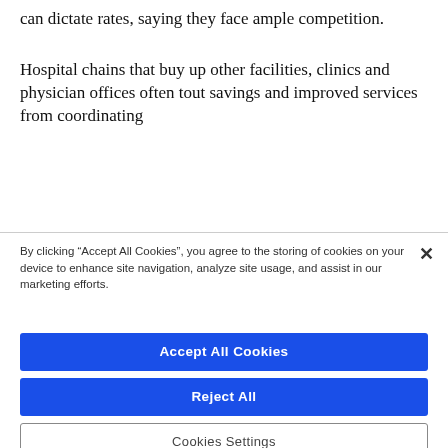can dictate rates, saying they face ample competition.
Hospital chains that buy up other facilities, clinics and physician offices often tout savings and improved services from coordinating
By clicking “Accept All Cookies”, you agree to the storing of cookies on your device to enhance site navigation, analyze site usage, and assist in our marketing efforts.
Accept All Cookies
Reject All
Cookies Settings